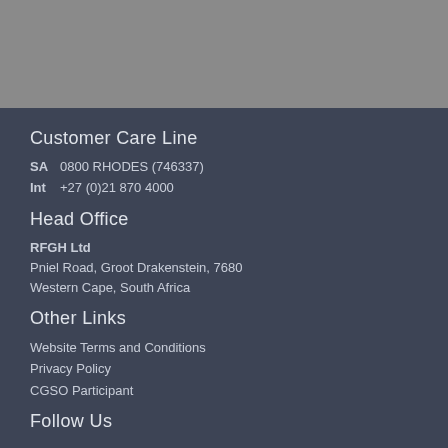[Figure (photo): Gray background area at top of page]
Customer Care Line
SA   0800 RHODES (746337)
Int  +27 (0)21 870 4000
Head Office
RFGH Ltd
Pniel Road, Groot Drakenstein, 7680
Western Cape, South Africa
Other Links
Website Terms and Conditions
Privacy Policy
CGSO Participant
Follow Us